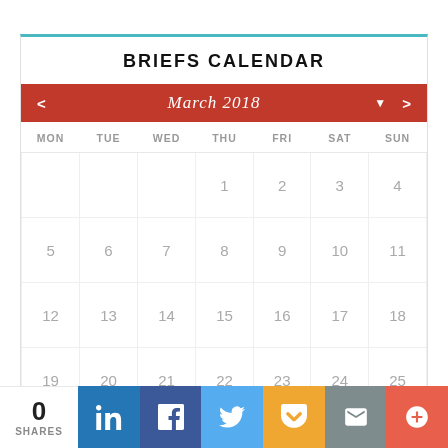BRIEFS CALENDAR
[Figure (other): Monthly calendar widget for March 2018 with navigation arrows and month selector. Day 30 (Friday) is highlighted in red.]
0 SHARES